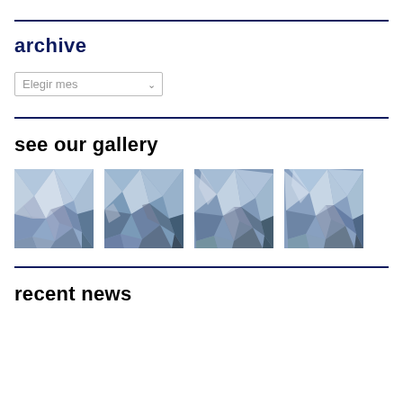archive
Elegir mes (dropdown)
see our gallery
[Figure (photo): Four thumbnail images showing abstract low-poly geometric artwork in shades of blue, grey, purple and white arranged in a horizontal row]
recent news